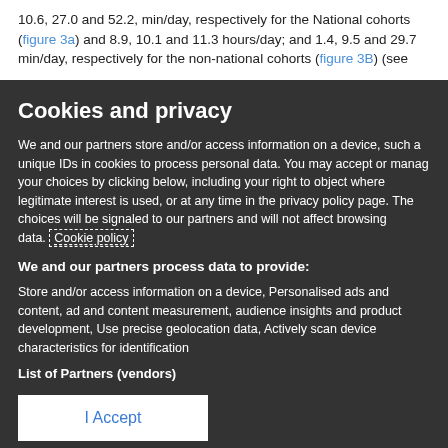10.6, 27.0 and 52.2, min/day, respectively for the National cohorts (figure 3a) and 8.9, 10.1 and 11.3 hours/day; and 1.4, 9.5 and 29.7 min/day, respectively for the non-national cohorts (figure 3B) (see
Cookies and privacy
We and our partners store and/or access information on a device, such a unique IDs in cookies to process personal data. You may accept or manag your choices by clicking below, including your right to object where legitimate interest is used, or at any time in the privacy policy page. The choices will be signaled to our partners and will not affect browsing data. Cookie policy
We and our partners process data to provide:
Store and/or access information on a device, Personalised ads and content, ad and content measurement, audience insights and product development, Use precise geolocation data, Actively scan device characteristics for identification
List of Partners (vendors)
I Accept